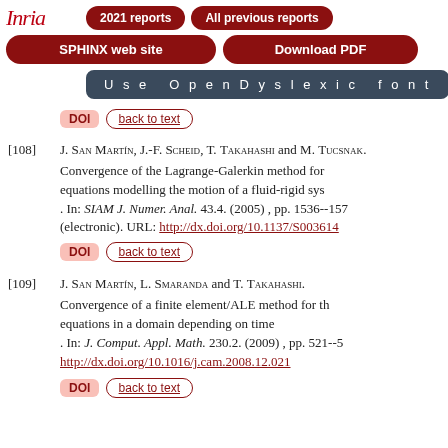Inria | 2021 reports | All previous reports | SPHINX web site | Download PDF | Use OpenDyslexic font
DOI  back to text
[108] J. San Martín, J.-F. Scheid, T. Takahashi and M. Tucsnak. Convergence of the Lagrange-Galerkin method for equations modelling the motion of a fluid-rigid system. In: SIAM J. Numer. Anal. 43.4. (2005), pp. 1536--157 (electronic). URL: http://dx.doi.org/10.1137/S003614
DOI  back to text
[109] J. San Martín, L. Smaranda and T. Takahashi. Convergence of a finite element/ALE method for the equations in a domain depending on time. In: J. Comput. Appl. Math. 230.2. (2009), pp. 521--5 http://dx.doi.org/10.1016/j.cam.2008.12.021
DOI  back to text